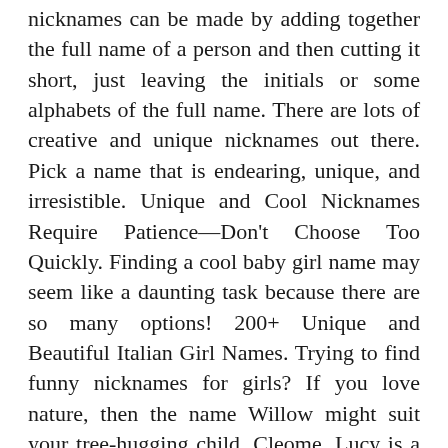nicknames can be made by adding together the full name of a person and then cutting it short, just leaving the initials or some alphabets of the full name. There are lots of creative and unique nicknames out there. Pick a name that is endearing, unique, and irresistible. Unique and Cool Nicknames Require Patience—Don't Choose Too Quickly. Finding a cool baby girl name may seem like a daunting task because there are so many options! 200+ Unique and Beautiful Italian Girl Names. Trying to find funny nicknames for girls? If you love nature, then the name Willow might suit your tree-hugging child. Cleome. Lucy is a more accessible name that will be familiar to most. 1. Fiona. Amaris - This name, meaning "child of the moon," would be great for a baby born during the full moon. Bender. We have selected some of the most popular traditional and modern Bengali Baby Girl names. 3. Cute names such as "Boo," "Honey," or "Babe . Gorgeous - A great